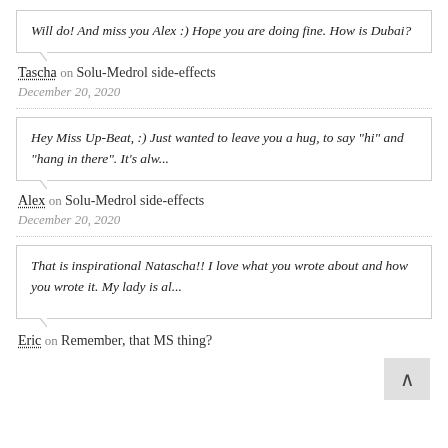Will do! And miss you Alex :) Hope you are doing fine. How is Dubai?
Tascha on Solu-Medrol side-effects
December 20, 2020
Hey Miss Up-Beat, :) Just wanted to leave you a hug, to say "hi" and "hang in there". It's alw...
Alex on Solu-Medrol side-effects
December 20, 2020
That is inspirational Natascha!! I love what you wrote about and how you wrote it. My lady is al...
Eric on Remember, that MS thing?